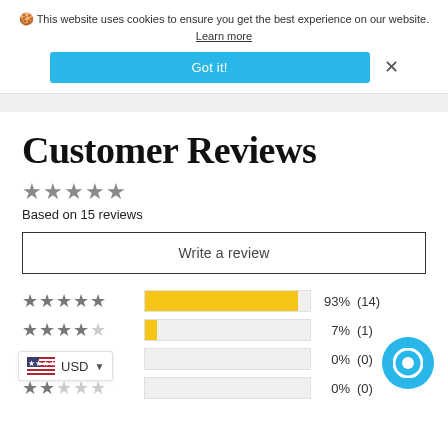🍪 This website uses cookies to ensure you get the best experience on our website. Learn more
Got it!
Customer Reviews
★★★★★ Based on 15 reviews
Write a review
[Figure (bar-chart): Rating breakdown]
USD
0% (0)